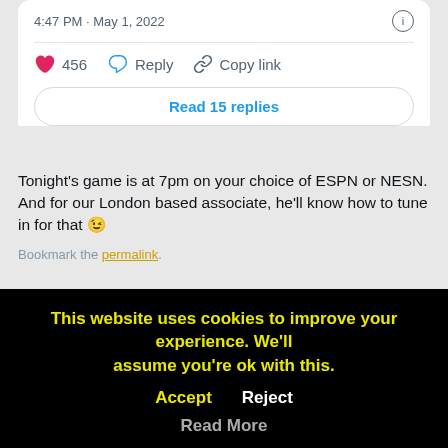4:47 PM · May 1, 2022
456  Reply  Copy link
Read 15 replies
Tonight's game is at 7pm on your choice of ESPN or NESN. And for our London based associate, he'll know how to tune in for that 😉
Bookmark the permalink.
About the german hammer
This website uses cookies to improve your experience. We'll assume you're ok with this.  Accept  Reject  Read More